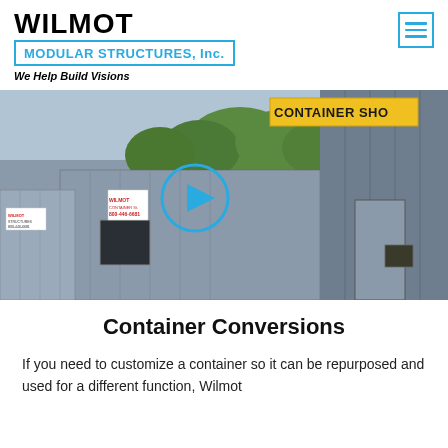WILMOT MODULAR STRUCTURES, Inc. — We Help Build Visions
[Figure (photo): Photograph of shipping container conversions at a Wilmot facility yard, showing grey modular container structures with doors and windows, a yellow sign reading CONTAINER SHOP, Wilmot signage, trees in background, and a video play button overlay in cyan/teal circle]
Container Conversions
If you need to customize a container so it can be repurposed and used for a different function, Wilmot